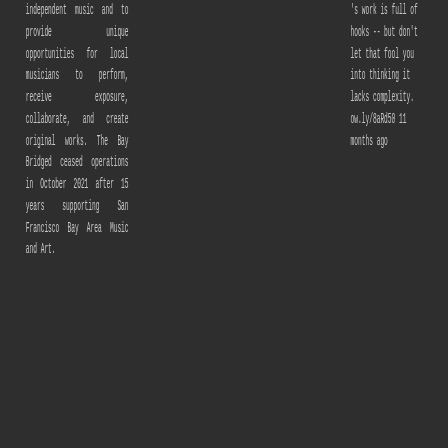independent music and to provide unique opportunities for local musicians to perform, receive exposure, collaborate, and create original works. The Bay Bridged ceased operations in October 2021 after 15 years supporting San Francisco Bay Area Music and Art.
's work is full of hooks -- but don't let that fool you into thinking it lacks complexity. ow.ly/8aRd50 11 months ago